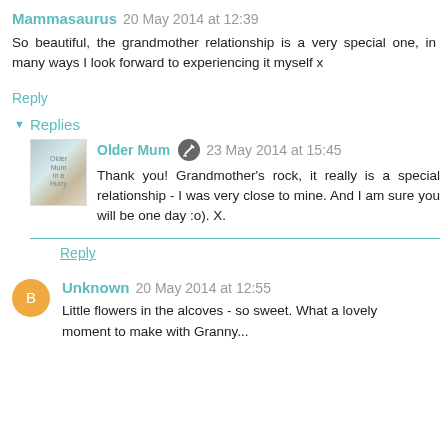Mammasaurus 20 May 2014 at 12:39
So beautiful, the grandmother relationship is a very special one, in many ways I look forward to experiencing it myself x
Reply
Replies
Older Mum 23 May 2014 at 15:45
Thank you! Grandmother's rock, it really is a special relationship - I was very close to mine. And I am sure you will be one day :o). X.
Reply
Unknown 20 May 2014 at 12:55
Little flowers in the alcoves - so sweet. What a lovely moment to make with Granny...